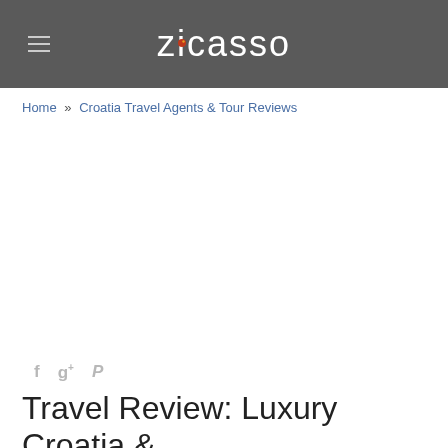zicasso
Home » Croatia Travel Agents & Tour Reviews
[Figure (other): Social sharing icons: Facebook (f), Google+ (g+), Pinterest (P)]
Travel Review: Luxury Croatia & Slovenia Tour Best Hotels